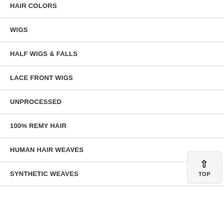HAIR COLORS
WIGS
HALF WIGS & FALLS
LACE FRONT WIGS
UNPROCESSED
100% REMY HAIR
HUMAN HAIR WEAVES
SYNTHETIC WEAVES